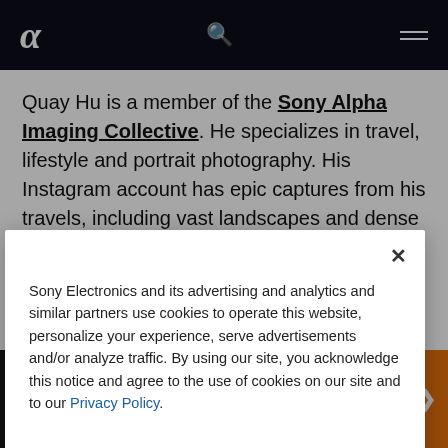Sony Alpha logo navigation bar with search and menu icons
Quay Hu is a member of the Sony Alpha Imaging Collective. He specializes in travel, lifestyle and portrait photography. His Instagram account has epic captures from his travels, including vast landscapes and dense cityscapes
[Figure (screenshot): Cookie consent modal dialog with close button (×), body text about Sony Electronics cookies and privacy policy link, and Manage Cookies link at bottom]
Sony Electronics and its advertising and analytics and similar partners use cookies to operate this website, personalize your experience, serve advertisements and/or analyze traffic. By using our site, you acknowledge this notice and agree to the use of cookies on our site and to our Privacy Policy.
Manage Cookies